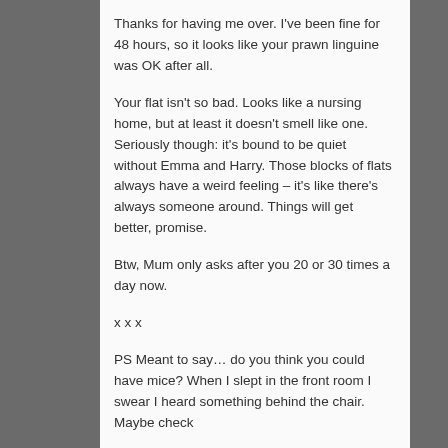Thanks for having me over. I've been fine for 48 hours, so it looks like your prawn linguine was OK after all.
Your flat isn't so bad. Looks like a nursing home, but at least it doesn't smell like one. Seriously though: it's bound to be quiet without Emma and Harry. Those blocks of flats always have a weird feeling – it's like there's always someone around. Things will get better, promise.
Btw, Mum only asks after you 20 or 30 times a day now.
x x x
PS Meant to say… do you think you could have mice? When I slept in the front room I swear I heard something behind the chair. Maybe check